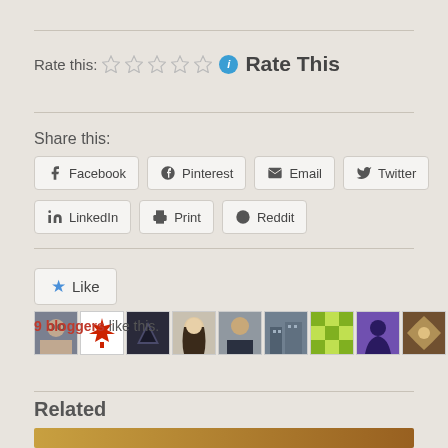Rate this: ★★★★★ ℹ Rate This
Share this:
Facebook | Pinterest | Email | Twitter | LinkedIn | Print | Reddit
[Figure (other): Like button with star icon and blogger avatar thumbnails (9 bloggers like this)]
9 bloggers like this.
Related
[Figure (photo): Blurred warm-toned photo thumbnail below Related heading]